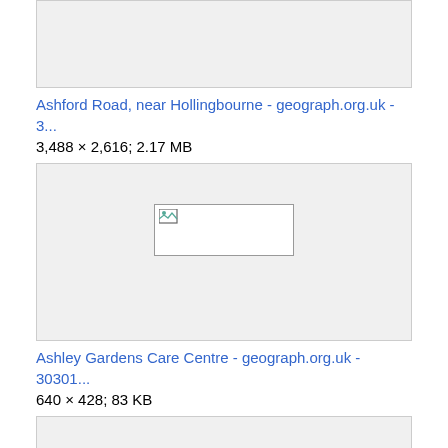[Figure (photo): Truncated image box at top of page (partially visible)]
Ashford Road, near Hollingbourne - geograph.org.uk - 3...
3,488 × 2,616; 2.17 MB
[Figure (photo): Image placeholder with broken image icon for Ashley Gardens Care Centre]
Ashley Gardens Care Centre - geograph.org.uk - 30301...
640 × 428; 83 KB
[Figure (photo): Image placeholder with broken image icon (partially visible at bottom)]